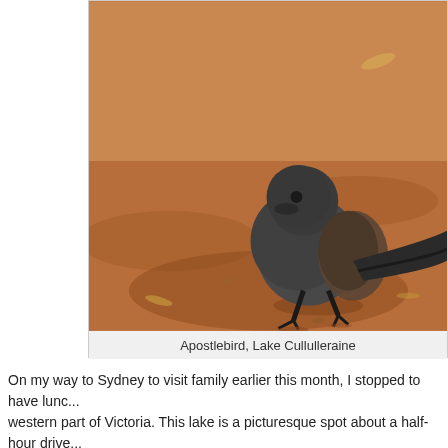[Figure (photo): A dark grey Apostlebird standing on red/orange dirt ground, photographed at Lake Cullulleraine. The bird has fluffy dark grey-black plumage and is facing slightly left, standing on reddish-brown sandy soil.]
Apostlebird, Lake Cullulleraine
On my way to Sydney to visit family earlier this month, I stopped to have lunc... western part of Victoria. This lake is a picturesque spot about a half-hour drive... wife and I had a wonderful week staying at the nearby caravan park. on thi...